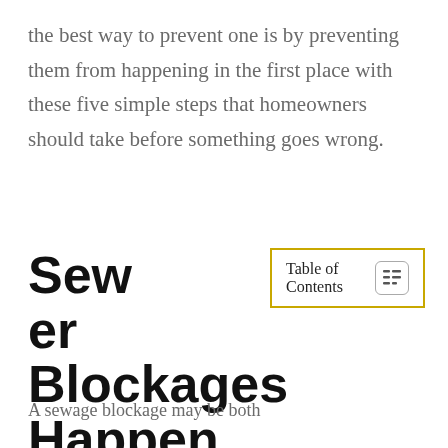the best way to prevent one is by preventing them from happening in the first place with these five simple steps that homeowners should take before something goes wrong.
Sewer Blockages Happen
A sewage blockage may be both